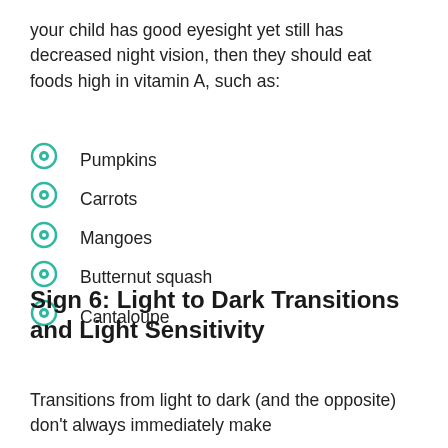your child has good eyesight yet still has decreased night vision, then they should eat foods high in vitamin A, such as:
Pumpkins
Carrots
Mangoes
Butternut squash
Cantaloupe
Sign 6: Light to Dark Transitions and Light Sensitivity
Transitions from light to dark (and the opposite) don't always immediately make the effect change to coincide.